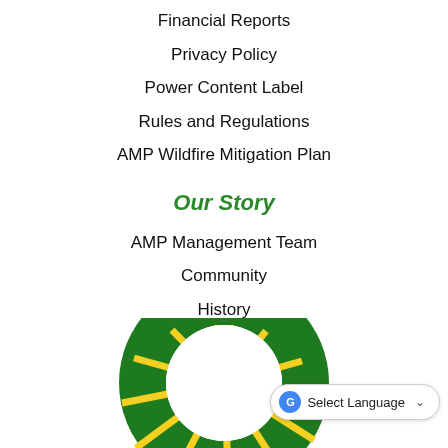Financial Reports
Privacy Policy
Power Content Label
Rules and Regulations
AMP Wildfire Mitigation Plan
Our Story
AMP Management Team
Community
History
Jobs at AMP
City of Alameda
[Figure (logo): AMP (Alameda Municipal Power) circular sunburst logo — green ring with yellow rays radiating from a white center circle]
Select Language